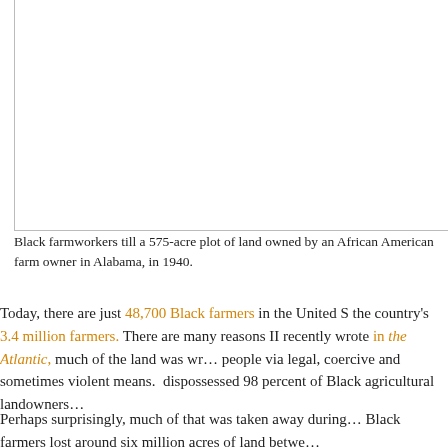[Figure (photo): A historical photograph of Black farmworkers tilling a 575-acre plot of land in Alabama, 1940. The image area is partially visible, showing an empty/white cropped region with a border on the left and bottom edges.]
Black farmworkers till a 575-acre plot of land owned by an African American farm owner in Alabama, in 1940.
Today, there are just 48,700 Black farmers in the United States, out of the country's 3.4 million farmers. There are many reasons for this. As Vann R. Newkirk II recently wrote in the Atlantic, much of the land was wrested away from Black people via legal, coercive and sometimes violent means. This process dispossessed 98 percent of Black agricultural landowners.
Perhaps surprisingly, much of that was taken away during the 20th century. Black farmers lost around six million acres of land between...